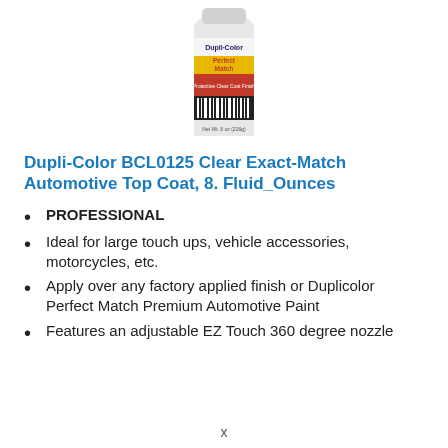[Figure (photo): Dupli-Color Perfect Match spray can product photo showing a white and red aerosol can with black cap]
Dupli-Color BCL0125 Clear Exact-Match Automotive Top Coat, 8. Fluid_Ounces
PROFESSIONAL
Ideal for large touch ups, vehicle accessories, motorcycles, etc.
Apply over any factory applied finish or Duplicolor Perfect Match Premium Automotive Paint
Features an adjustable EZ Touch 360 degree nozzle
x